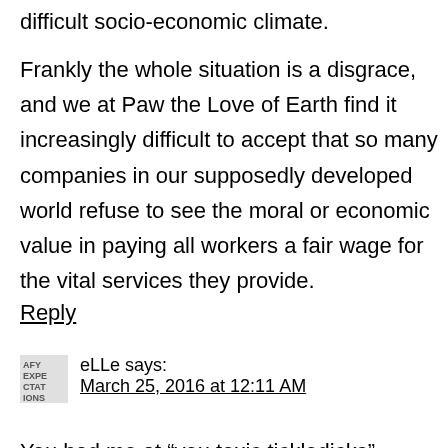difficult socio-economic climate.
Frankly the whole situation is a disgrace, and we at Paw the Love of Earth find it increasingly difficult to accept that so many companies in our supposedly developed world refuse to see the moral or economic value in paying all workers a fair wage for the vital services they provide.
Reply
eLLe says: March 25, 2016 at 12:11 AM
You had me at “you toxic tickledicks”.